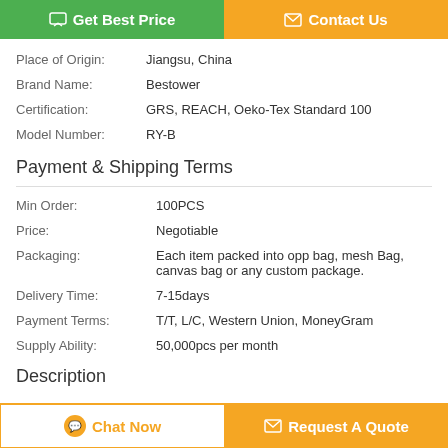[Figure (other): Two buttons at top: 'Get Best Price' (green) and 'Contact Us' (orange)]
Place of Origin: Jiangsu, China
Brand Name: Bestower
Certification: GRS, REACH, Oeko-Tex Standard 100
Model Number: RY-B
Payment & Shipping Terms
Min Order: 100PCS
Price: Negotiable
Packaging: Each item packed into opp bag, mesh Bag, canvas bag or any custom package.
Delivery Time: 7-15days
Payment Terms: T/T, L/C, Western Union, MoneyGram
Supply Ability: 50,000pcs per month
Description
[Figure (other): Two buttons at bottom: 'Chat Now' (white/orange outline) and 'Request A Quote' (orange)]